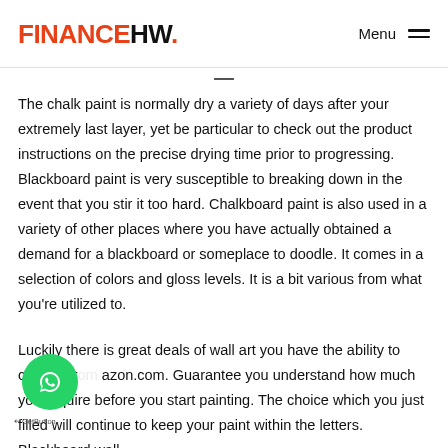FINANCEHW. Menu
The chalk paint is normally dry a variety of days after your extremely last layer, yet be particular to check out the product instructions on the precise drying time prior to progressing. Blackboard paint is very susceptible to breaking down in the event that you stir it too hard. Chalkboard paint is also used in a variety of other places where you have actually obtained a demand for a blackboard or someplace to doodle. It comes in a selection of colors and gloss levels. It is a bit various from what you're utilized to.
Luckily there is great deals of wall art you have the ability to choose from amazon.com. Guarantee you understand how much you require before you start painting. The choice which you just filled will continue to keep your paint within the letters. Blackboard wall